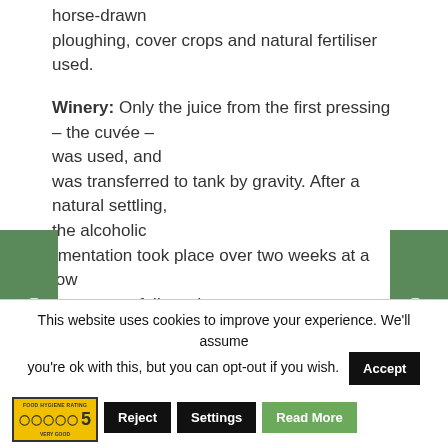horse-drawn ploughing, cover crops and natural fertiliser used.
Winery: Only the juice from the first pressing – the cuvée – was used, and was transferred to tank by gravity. After a natural settling, the alcoholic fermentation took place over two weeks at a low temperature, followed by complete, natural malolactic fermentation. Five percent of the blend was aged for a year in barrel to give extra depth. Minimal sulphur was
This website uses cookies to improve your experience. We'll assume you're ok with this, but you can opt-out if you wish.
[Figure (other): Food Hygiene Rating badge showing 5 stars - Very Good]
Accept Reject Settings Read More